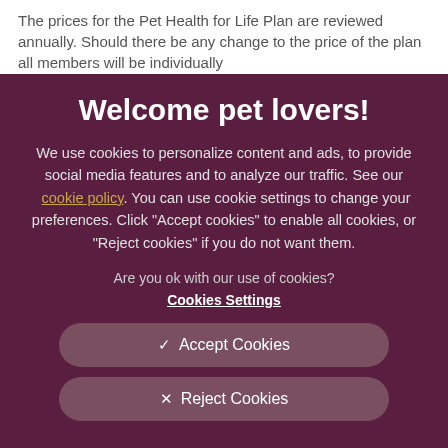The prices for the Pet Health for Life Plan are reviewed annually. Should there be any change to the price of the plan all members will be individually
Welcome pet lovers!
We use cookies to personalize content and ads, to provide social media features and to analyze our traffic. See our cookie policy. You can use cookie settings to change your preferences. Click "Accept cookies" to enable all cookies, or "Reject cookies" if you do not want them.
Are you ok with our use of cookies?
Cookies Settings
✓  Accept Cookies
✕  Reject Cookies